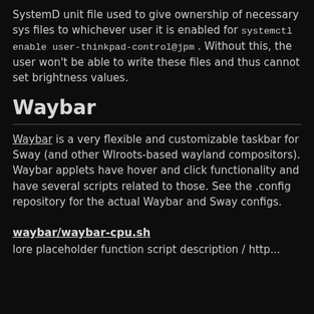SystemD unit file used to give ownership of necessary sys files to whichever user it is enabled for systemctl enable user-thinkpad-control@jpm . Without this, the user won't be able to write these files and thus cannot set brightness values.
Waybar
Waybar is a very flexible and customizable taskbar for Sway (and other Wlroots-based wayland compositors). Waybar applets have hover and click functionality and have several scripts related to those. See the .config repository for the actual Waybar and Sway configs.
waybar/waybar-cpu.sh
lore placeholder function script description / http...